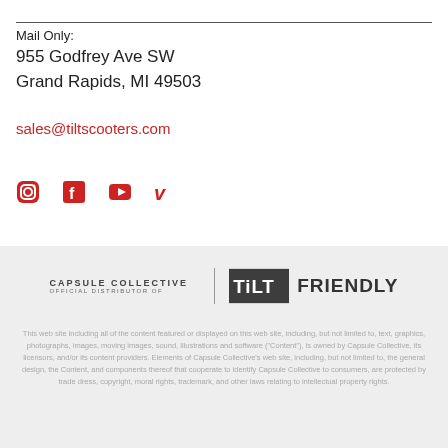Mail Only:
955 Godfrey Ave SW
Grand Rapids, MI 49503
sales@tiltscooters.com
[Figure (other): Social media icons: Instagram, Facebook, YouTube, Vimeo]
[Figure (logo): Capsule Collective Official Distributor Of | TILT logo | FRIENDLY logo]
This web site including all of the content featured or displayed on this web site, including, but not limited to, text, graphics, photographs, images, moving images, sound, illustrations and software ("Content"), is owned by Capsule Collective, its licensors, and/or its content providers. Elements of Capsule Collective's web site, including, but not limited to, the general design, the Content, and components thereof that cooperate to identify Capsule Collective to consumers, are protected by trade dress, copyright, moral rights, trademark, and other laws relating to intellectual property rights.